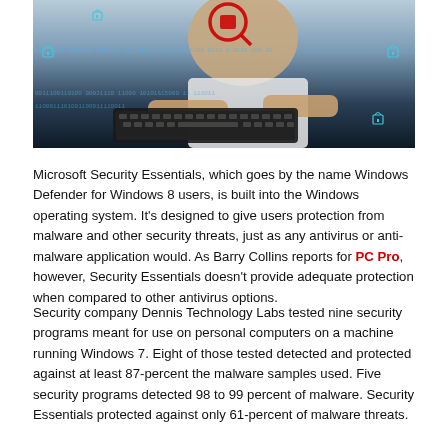[Figure (photo): A person typing on a keyboard with cybersecurity themed overlay including binary code text, lock icons, and a magnifying glass with a red alert symbol. Dark blue-toned hacker/security concept image.]
Microsoft Security Essentials, which goes by the name Windows Defender for Windows 8 users, is built into the Windows operating system. It's designed to give users protection from malware and other security threats, just as any antivirus or anti-malware application would. As Barry Collins reports for PC Pro, however, Security Essentials doesn't provide adequate protection when compared to other antivirus options.
Security company Dennis Technology Labs tested nine security programs meant for use on personal computers on a machine running Windows 7. Eight of those tested detected and protected against at least 87-percent the malware samples used. Five security programs detected 98 to 99 percent of malware. Security Essentials protected against only 61-percent of malware threats.